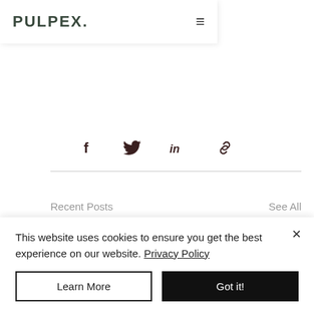PULPEX.
[Figure (infographic): Social share icons: Facebook (f), Twitter (bird), LinkedIn (in), Link (chain icon)]
Recent Posts
See All
This website uses cookies to ensure you get the best experience on our website. Privacy Policy
Learn More
Got it!